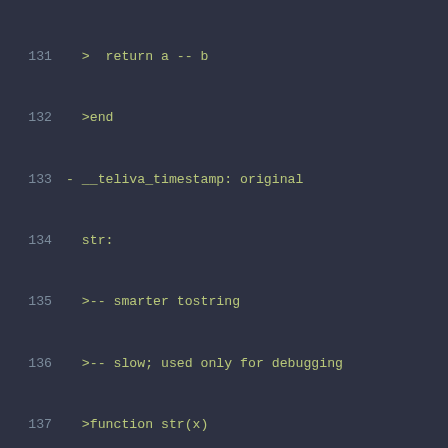[Figure (screenshot): Code editor screenshot showing Lua code lines 131-152 with line numbers, dark background, green-yellow monospace font. Lines show: return a -- b, >end, - __teliva_timestamp: original, str:, >-- smarter tostring, >-- slow; used only for debugging, >function str(x), > if type(x) == 'table' then, > local result = '', > result = result..#x..'{', > for k, v in pairs(x) do, > result = result..str(k)..'='..str(v)..', ', > end, > result = result..'}', > return result, > elseif type(x) == 'string' then, > return '"'..x..'"', > end, > return tostring(x), >end, - __teliva_timestamp: original, find_index:]